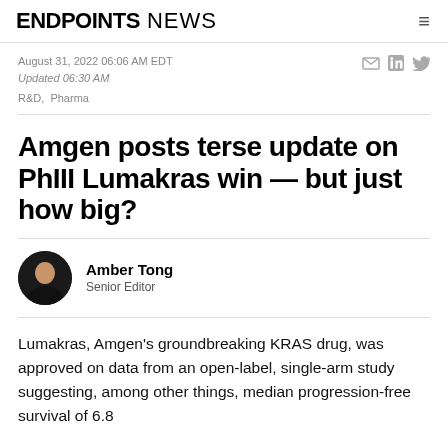ENDPOINTS NEWS
August 31, 2022 06:06 AM EDT
Updated 06:30 AM
R&D,  Pharma
Amgen posts terse update on PhIII Lumakras win — but just how big?
Amber Tong
Senior Editor
Lumakras, Amgen's groundbreaking KRAS drug, was approved on data from an open-label, single-arm study suggesting, among other things, median progression-free survival of 6.8